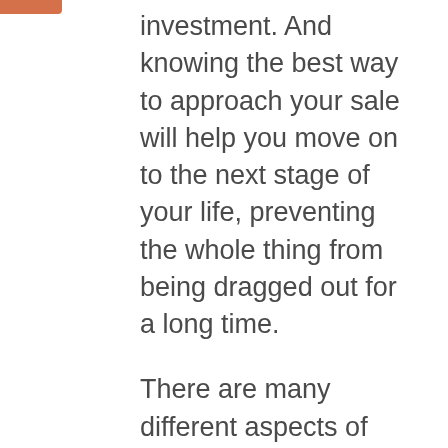investment. And knowing the best way to approach your sale will help you move on to the next stage of your life, preventing the whole thing from being dragged out for a long time.

There are many different aspects of selling a house, and keeping track of them all can seem complicated. However, with this short guide, you'll have all of the